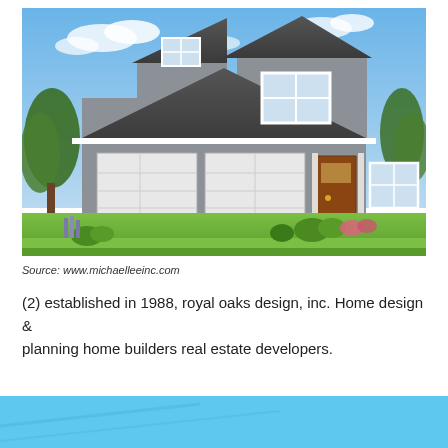[Figure (photo): Exterior rendering of a two-story suburban house with gray siding, dark shingle roof, two-car garage, brown front door, covered porch, and landscaped front yard with green lawn, shrubs, and flowering plants. Blue sky with clouds in background.]
Source: www.michaelleeinc.com
(2) established in 1988, royal oaks design, inc. Home design & planning home builders real estate developers.
[Figure (illustration): Blue banner/background strip at the bottom of the page.]